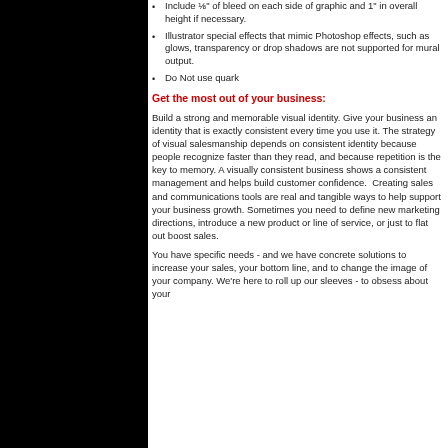Include ⅛" of bleed on each side of graphic and 1" in overall height if necessary.
Illustrator special effects that mimic Photoshop effects, such as glows, transparency or drop shadows are not supported for mural output.
Do Not use quark
Get the most out of your business:
Build a strong and memorable visual identity. Give your business an identity that is exactly consistent every time you use it. The strategy of visual salesmanship depends on consistent identity because people recognize faster than they read, and because repetition is the key to memory. A visually consistent business shows a consistent management and helps build customer confidence.  Creating sales and communications tools are real and tangible ways to help support your business growth. Sometimes you need to define new marketing directions, introduce a new product or line of service, or just to flat out boost sales.
You have specific needs - and we have concrete solutions to increase your sales, your bottom line, and to change the image of your company. We're here to roll up our sleeves - to obsess about your